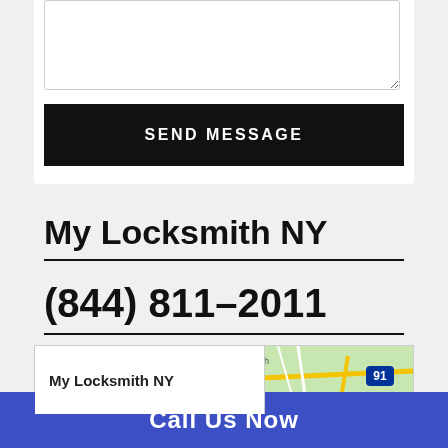[Figure (screenshot): White card area with a textarea input box and a black SEND MESSAGE button]
My Locksmith NY
(844) 811-2011
[Figure (map): Google Maps preview showing Newburgh area with My Locksmith NY label box on the left and map on the right]
Call Us Now